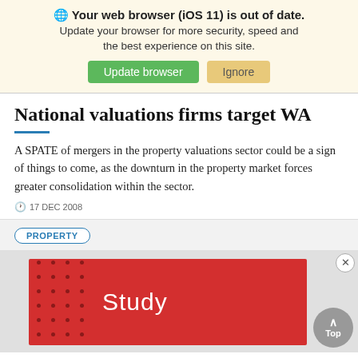🌐 Your web browser (iOS 11) is out of date. Update your browser for more security, speed and the best experience on this site. Update browser | Ignore
National valuations firms target WA
A SPATE of mergers in the property valuations sector could be a sign of things to come, as the downturn in the property market forces greater consolidation within the sector.
17 DEC 2008
PROPERTY
[Figure (other): Red advertisement banner with dot pattern on left side and the word 'Study' in white text. Gray background with a circular close button and a 'Top' scroll button.]